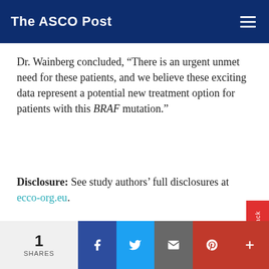The ASCO Post
Dr. Wainberg concluded, “There is an urgent unmet need for these patients, and we believe these exciting data represent a potential new treatment option for patients with this BRAF mutation.”
Disclosure: See study authors’ full disclosures at ecco-org.eu.
The content in this post has not been reviewed by the American Society of Clinical Oncology, Inc. (ASCO®) and does not necessarily reflect the ideas and opinions of ASCO®.
ADVERTISEMENT
[Figure (illustration): Advertisement banner with dark blue/purple gradient background and network/hexagon graphic elements]
1 SHARES